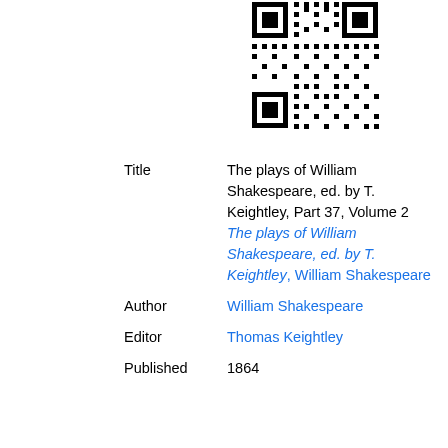[Figure (other): QR code image in upper right area of the page]
| Title | The plays of William Shakespeare, ed. by T. Keightley, Part 37, Volume 2
The plays of William Shakespeare, ed. by T. Keightley, William Shakespeare |
| Author | William Shakespeare |
| Editor | Thomas Keightley |
| Published | 1864 |